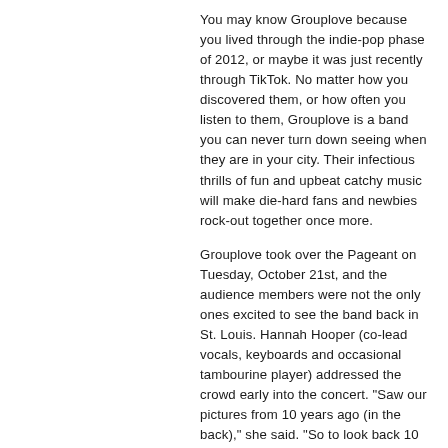You may know Grouplove because you lived through the indie-pop phase of 2012, or maybe it was just recently through TikTok. No matter how you discovered them, or how often you listen to them, Grouplove is a band you can never turn down seeing when they are in your city. Their infectious thrills of fun and upbeat catchy music will make die-hard fans and newbies rock-out together once more.
Grouplove took over the Pageant on Tuesday, October 21st, and the audience members were not the only ones excited to see the band back in St. Louis. Hannah Hooper (co-lead vocals, keyboards and occasional tambourine player) addressed the crowd early into the concert. "Saw our pictures from 10 years ago (in the back)," she said. "So to look back 10 years later down the road is crazy. Thank you for supporting us for so long. We have been so excited for this show for years."
Grouplove brought their high-energy selves and left it all out on the stage. Right off the bat they started with "Deleter" and then easily transitioned into "Scratch." Both of these songs